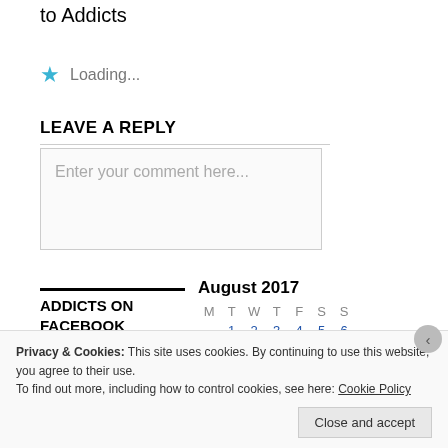to Addicts
★ Loading...
LEAVE A REPLY
Enter your comment here...
ADDICTS ON FACEBOOK
| M | T | W | T | F | S | S |
| --- | --- | --- | --- | --- | --- | --- |
|  | 1 | 2 | 3 | 4 | 5 | 6 |
| 7 | 8 | 9 | 10 | 11 | 12 | 13 |
| 14 | 15 | 16 | 17 | 18 | 19 | 20 |
Privacy & Cookies: This site uses cookies. By continuing to use this website, you agree to their use. To find out more, including how to control cookies, see here: Cookie Policy
Close and accept